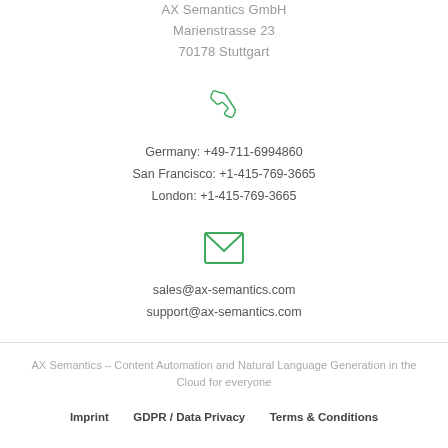AX Semantics GmbH
Marienstrasse 23
70178 Stuttgart
[Figure (illustration): Green phone/telephone icon]
Germany: +49-711-6994860
San Francisco: +1-415-769-3665
London: +1-415-769-3665
[Figure (illustration): Green envelope/email icon]
sales@ax-semantics.com
support@ax-semantics.com
AX Semantics – Content Automation and Natural Language Generation in the Cloud for everyone
Imprint   GDPR / Data Privacy   Terms & Conditions